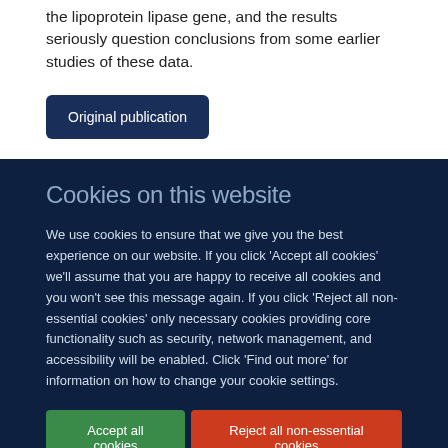the lipoprotein lipase gene, and the results seriously question conclusions from some earlier studies of these data.
Original publication
Cookies on this website
We use cookies to ensure that we give you the best experience on our website. If you click 'Accept all cookies' we'll assume that you are happy to receive all cookies and you won't see this message again. If you click 'Reject all non-essential cookies' only necessary cookies providing core functionality such as security, network management, and accessibility will be enabled. Click 'Find out more' for information on how to change your cookie settings.
Accept all cookies
Reject all non-essential cookies
Find out more